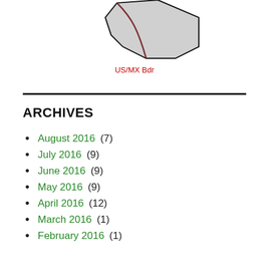[Figure (map): Partial map outline of a US/Mexico border region, showing a gray shaded area with a dark brown/red line indicating the US/MX border. Label reads 'US/MX Bdr' in red text below the map shape.]
ARCHIVES
August 2016 (7)
July 2016 (9)
June 2016 (9)
May 2016 (9)
April 2016 (12)
March 2016 (1)
February 2016 (1)